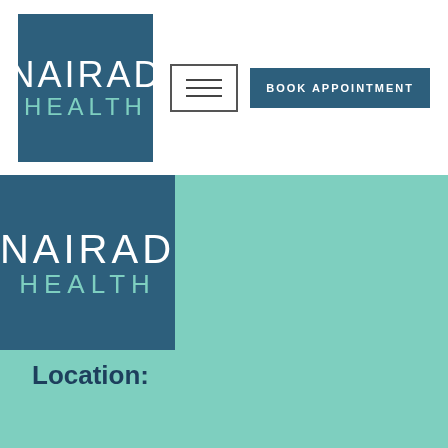[Figure (logo): Nairad Health logo — dark teal box with NAIRAD in white and HEALTH in mint green letters]
BOOK APPOINTMENT
[Figure (logo): Nairad Health logo repeated in the teal content area — dark teal box with NAIRAD in white and HEALTH in mint green]
Location:
Address: Nairad Health
3134 Niles Road, Suite C
St. Joseph, MI 49085
Phone: (269) 408-8235